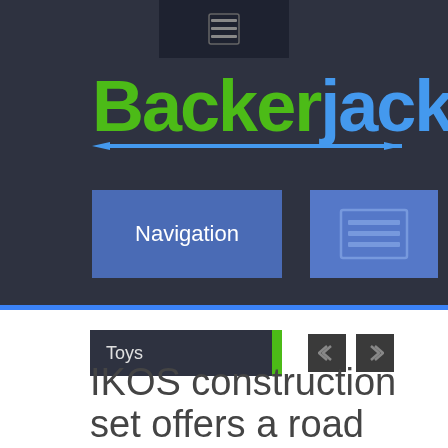[Figure (screenshot): BackerJack website screenshot showing dark header with logo, navigation button, and menu icon button]
Toys
IKOS construction set offers a road